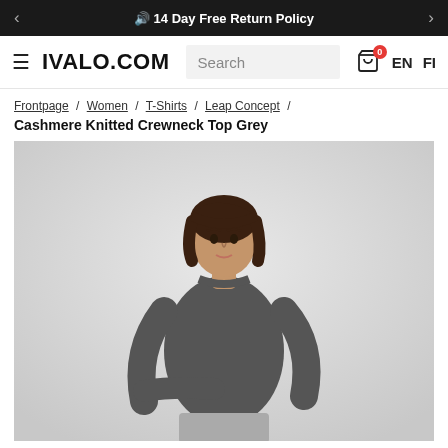🔊 14 Day Free Return Policy
IVALO.COM | Search | EN | FI
Frontpage / Women / T-Shirts / Leap Concept /
Cashmere Knitted Crewneck Top Grey
[Figure (photo): A female model wearing a dark grey cashmere knitted crewneck long-sleeve top and grey wide-leg trousers, standing against a light grey background.]